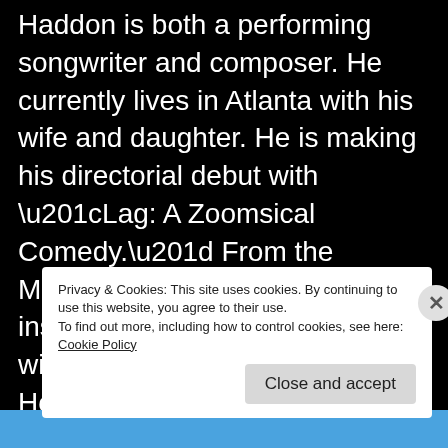Haddon is both a performing songwriter and composer. He currently lives in Atlanta with his wife and daughter. He is making his directorial debut with “Lag: A Zoomsical Comedy.” From the Mauretanien rhythms and instrumentation of the award-winning short film “Trail of Hope”, to the Celtic Rock Pop and Soul based songs of “The Snow Queen: A New Musical”, the latter of which won him praise f... p... A...
Privacy & Cookies: This site uses cookies. By continuing to use this website, you agree to their use.
To find out more, including how to control cookies, see here: Cookie Policy
Close and accept